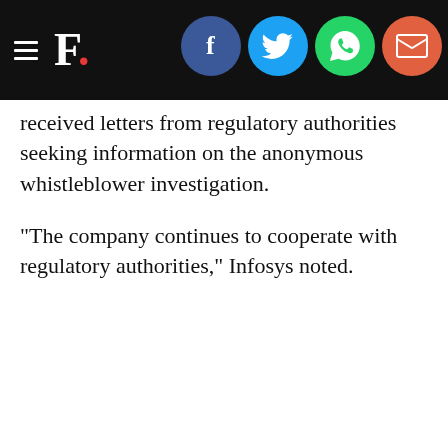F. [logo with social share icons: Facebook, Twitter, WhatsApp, Email]
received letters from regulatory authorities seeking information on the anonymous whistleblower investigation.
"The company continues to cooperate with regulatory authorities," Infosys noted.